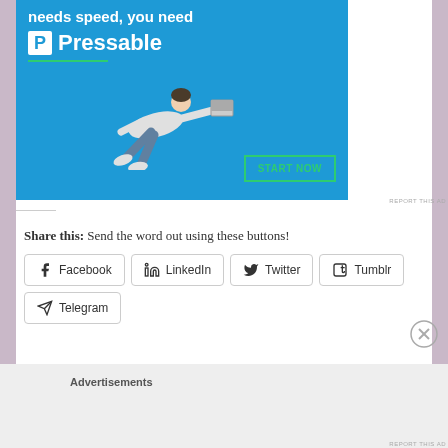[Figure (advertisement): Pressable hosting advertisement banner with blue background, a person flying holding a laptop, 'START NOW' button, and text 'needs speed, you need Pressable']
REPORT THIS AD
Share this: Send the word out using these buttons!
Facebook
LinkedIn
Twitter
Tumblr
Telegram
Advertisements
REPORT THIS AD